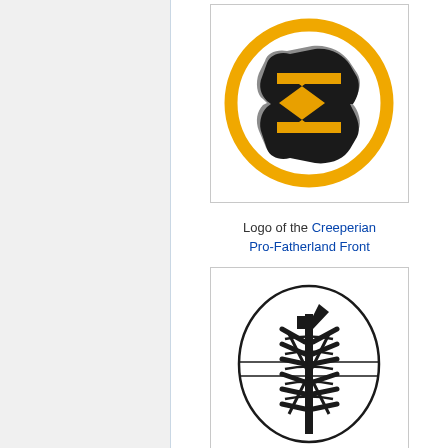[Figure (logo): Logo of the Creeperian Pro-Fatherland Front: a yellow circle outline containing a black sigma/map shape symbol]
Logo of the Creeperian Pro-Fatherland Front
[Figure (logo): Logo of the Creeperian Fascist Union: an oval containing a fasces symbol (axe bundled with rods)]
Logo of the Creeperian Fascist Union
[Figure (logo): Partial logo visible at bottom, appears to have blue and white elements]